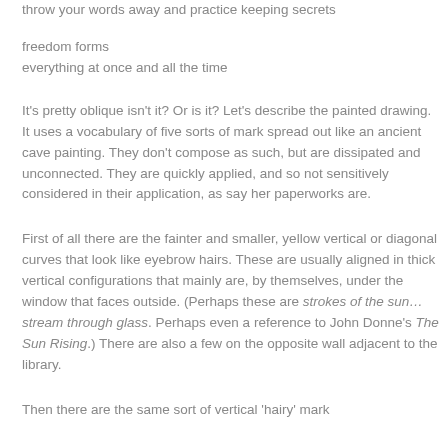throw your words away and practice keeping secrets
freedom forms
everything at once and all the time
It's pretty oblique isn't it? Or is it? Let's describe the painted drawing. It uses a vocabulary of five sorts of mark spread out like an ancient cave painting. They don't compose as such, but are dissipated and unconnected. They are quickly applied, and so not sensitively considered in their application, as say her paperworks are.
First of all there are the fainter and smaller, yellow vertical or diagonal curves that look like eyebrow hairs. These are usually aligned in thick vertical configurations that mainly are, by themselves, under the window that faces outside. (Perhaps these are strokes of the sun…stream through glass. Perhaps even a reference to John Donne's The Sun Rising.) There are also a few on the opposite wall adjacent to the library.
Then there are the same sort of vertical 'hairy' mark